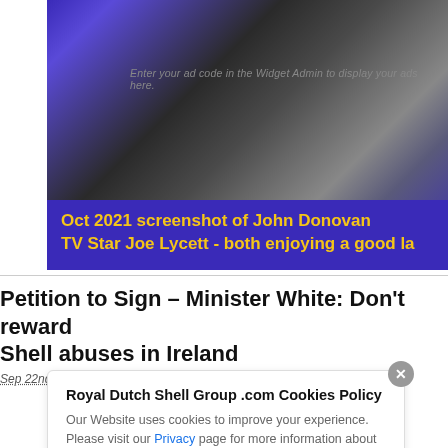[Figure (screenshot): Screenshot of a webpage showing John Donovan and TV Star Joe Lycett, with a purple caption bar reading 'Oct 2021 screenshot of John Donovan TV Star Joe Lycett - both enjoying a good la']
Enter your ad code in the Widget Admin to display your ads here.
Oct 2021 screenshot of John Donovan TV Star Joe Lycett - both enjoying a good la
Petition to Sign – Minister White: Don't reward Shell abuses in Ireland
Sep 22nd, 2015 by John Donovan.
Royal Dutch Shell Group .com Cookies Policy
Our Website uses cookies to improve your experience. Please visit our Privacy page for more information about cookies and how we use them.